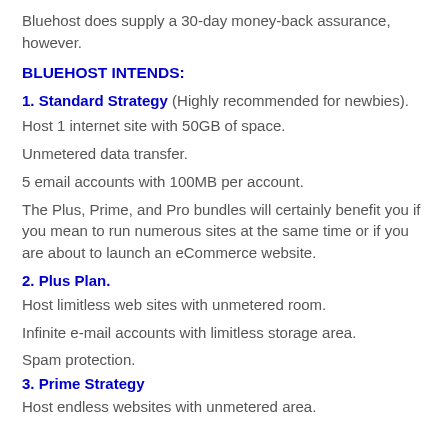Bluehost does supply a 30-day money-back assurance, however.
BLUEHOST INTENDS:
1. Standard Strategy (Highly recommended for newbies).
Host 1 internet site with 50GB of space.
Unmetered data transfer.
5 email accounts with 100MB per account.
The Plus, Prime, and Pro bundles will certainly benefit you if you mean to run numerous sites at the same time or if you are about to launch an eCommerce website.
2. Plus Plan.
Host limitless web sites with unmetered room.
Infinite e-mail accounts with limitless storage area.
Spam protection.
3. Prime Strategy
Host endless websites with unmetered area.